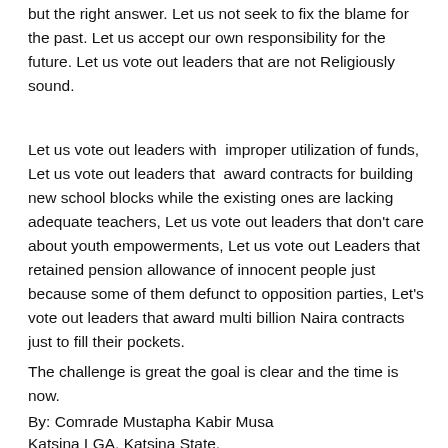but the right answer. Let us not seek to fix the blame for the past. Let us accept our own responsibility for the future. Let us vote out leaders that are not Religiously sound.
Let us vote out leaders with improper utilization of funds, Let us vote out leaders that award contracts for building new school blocks while the existing ones are lacking adequate teachers, Let us vote out leaders that don't care about youth empowerments, Let us vote out Leaders that retained pension allowance of innocent people just because some of them defunct to opposition parties, Let's vote out leaders that award multi billion Naira contracts just to fill their pockets.
The challenge is great the goal is clear and the time is now.
By: Comrade Mustapha Kabir Musa
Katsina LGA, Katsina State.